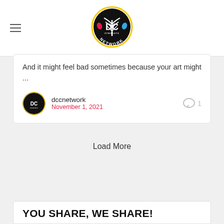[Figure (logo): DC Creators Network logo — circular black badge with tree, DC letters, and colorful paint drops]
And it might feel bad sometimes because your art might ...
dccnetwork
November 1, 2021
Load More
YOU SHARE, WE SHARE!